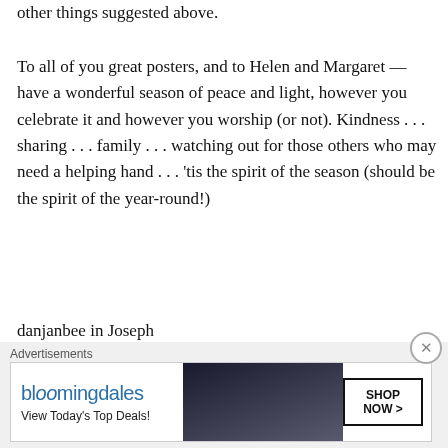other things suggested above.
To all of you great posters, and to Helen and Margaret — have a wonderful season of peace and light, however you celebrate it and however you worship (or not). Kindness . . . sharing . . . family . . . watching out for those others who may need a helping hand . . . 'tis the spirit of the season (should be the spirit of the year-round!)
danjanbee in Joseph
★ Like
Advertisements
Advertisements
[Figure (other): Bloomingdale's advertisement banner: bloomingdales logo, 'View Today's Top Deals!' text, woman in large hat, 'SHOP NOW >' button]